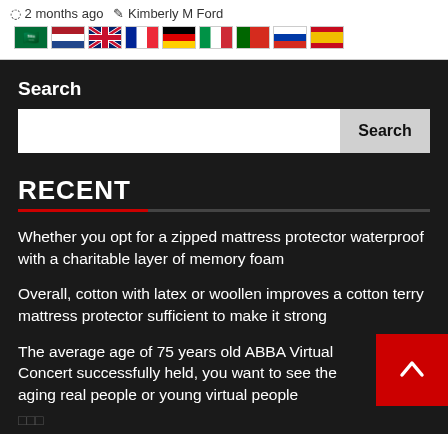2 months ago  Kimberly M Ford
[Figure (illustration): Row of country flag icons: Saudi Arabia, Netherlands, UK, France, Germany, Italy, Portugal, Russia, Spain]
Search
[Figure (screenshot): Search input box with Search button]
RECENT
Whether you opt for a zipped mattress protector waterproof with a charitable layer of memory foam
Overall, cotton with latex or woollen improves a cotton terry mattress protector sufficient to make it strong
The average age of 75 years old ABBA Virtual Concert successfully held, you want to see the aging real people or young virtual people
□□□